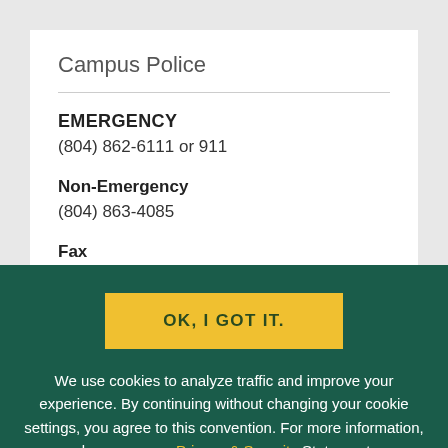Campus Police
EMERGENCY
(804) 862-6111 or 911
Non-Emergency
(804) 863-4085
Fax
OK, I GOT IT.
We use cookies to analyze traffic and improve your experience. By continuing without changing your cookie settings, you agree to this convention. For more information, please see our Privacy & Security Statement.